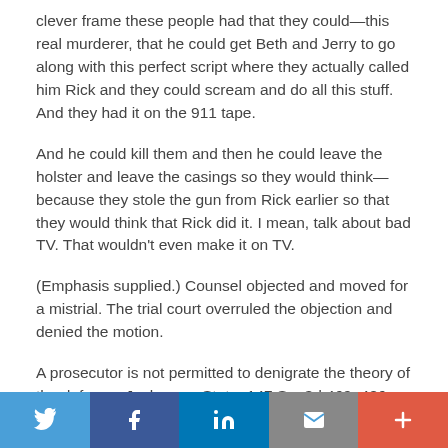clever frame these people had that they could—this real murderer, that he could get Beth and Jerry to go along with this perfect script where they actually called him Rick and they could scream and do all this stuff. And they had it on the 911 tape.
And he could kill them and then he could leave the holster and leave the casings so they would think—because they stole the gun from Rick earlier so that they would think that Rick did it. I mean, talk about bad TV. That wouldn't even make it on TV.
(Emphasis supplied.) Counsel objected and moved for a mistrial. The trial court overruled the objection and denied the motion.
A prosecutor is not permitted to denigrate the theory of the defense. Jackson v. State, 147 So. 3d 469, 486 (Fla. 2014).
Twitter | Facebook | LinkedIn | Email | +